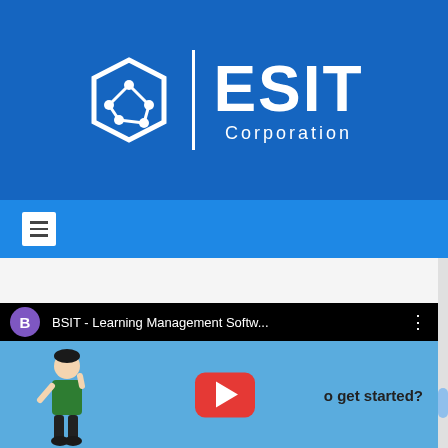[Figure (logo): ESIT Corporation logo with hexagonal network icon on blue background header]
[Figure (screenshot): Navigation bar with hamburger menu on blue background]
[Figure (screenshot): YouTube embedded video thumbnail showing BSIT Learning Management Software with animated character and play button, text 'o get started?' visible]